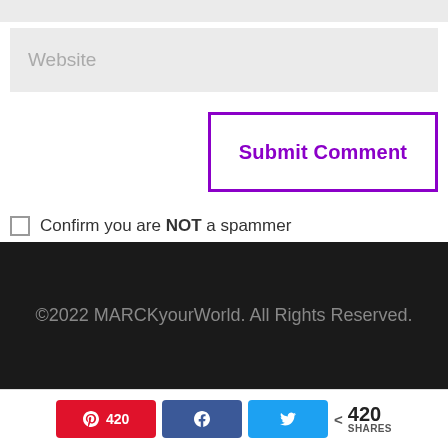Website
Submit Comment
Confirm you are NOT a spammer
©2022 MARCKyourWorld. All Rights Reserved.
420 SHARES